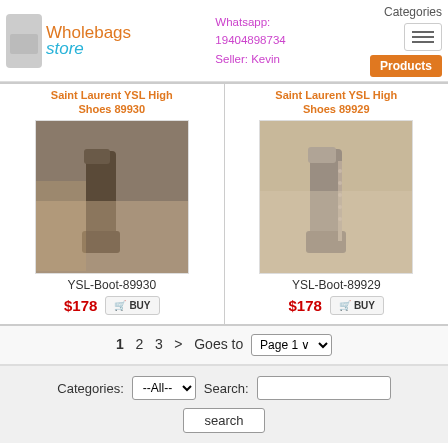[Figure (logo): Wholebags Store logo with shopping bag icon, orange and teal text]
Whatsapp: 19404898734
Seller: Kevin
Categories
Products
Saint Laurent YSL High Shoes 89930
Saint Laurent YSL High Shoes 89929
[Figure (photo): Saint Laurent YSL high boots in dark brown/olive color, shown in store setting]
[Figure (photo): Saint Laurent YSL high boots in light grey/beige color with stud details, shown in store setting]
YSL-Boot-89930
$178
BUY
YSL-Boot-89929
$178
BUY
1  2  3  >  Goes to  Page 1 ▼
Categories: --All--  Search:  search